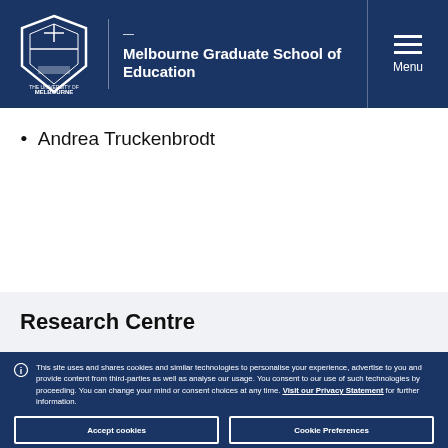Melbourne Graduate School of Education
Andrea Truckenbrodt
Research Centre
This site uses and shares cookies and similar technologies to personalise your experience, advertise to you and provide content from third-parties as well as analyse our usage. You consent to our use of such technologies by proceeding. You can change your mind or consent choices at any time. Visit our Privacy Statement for further information.
Accept cookies
Cookie Preferences